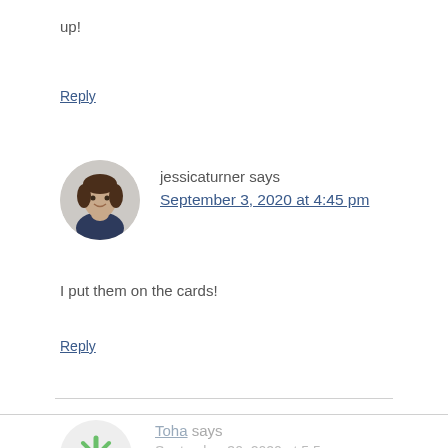up!
Reply
[Figure (photo): Round avatar photo of jessicaturner, a young woman with dark curly hair wearing a dark blue top]
jessicaturner says
September 3, 2020 at 4:45 pm
I put them on the cards!
Reply
[Figure (illustration): Partial round avatar with green snowflake/flower decorative icon for user Toha]
Toha says
September 30, 2020 at 5:5...